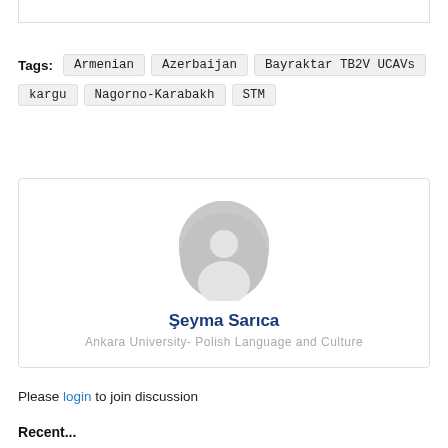Tags: Armenian  Azerbaijan  Bayraktar TB2V UCAVs  kargu  Nagorno-Karabakh  STM
[Figure (illustration): Author profile card with a gray default avatar icon, name Şeyma Sarıca in bold dark blue, and affiliation Ankara University- Polish Language and Culture in light gray monospace text.]
Please login to join discussion
Recent...